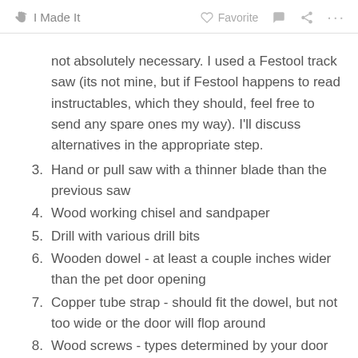✋ I Made It   ♡ Favorite   💬   ⬡   ...
not absolutely necessary. I used a Festool track saw (its not mine, but if Festool happens to read instructables, which they should, feel free to send any spare ones my way). I'll discuss alternatives in the appropriate step.
3. Hand or pull saw with a thinner blade than the previous saw
4. Wood working chisel and sandpaper
5. Drill with various drill bits
6. Wooden dowel - at least a couple inches wider than the pet door opening
7. Copper tube strap - should fit the dowel, but not too wide or the door will flop around
8. Wood screws - types determined by your door situation
9. Small wood sheets - these are needed if the panel...